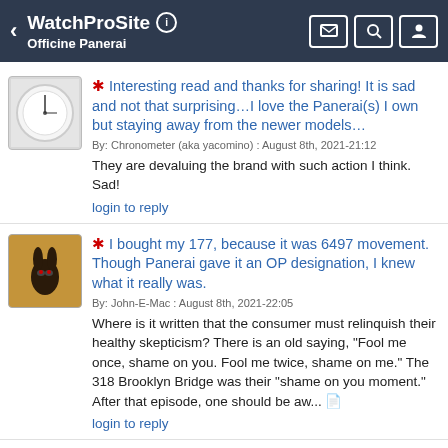WatchProSite — Officine Panerai
Interesting read and thanks for sharing! It is sad and not that surprising…I love the Panerai(s) I own but staying away from the newer models…
By: Chronometer (aka yacomino) : August 8th, 2021-21:12
They are devaluing the brand with such action I think. Sad!
login to reply
I bought my 177, because it was 6497 movement. Though Panerai gave it an OP designation, I knew what it really was.
By: John-E-Mac : August 8th, 2021-22:05
Where is it written that the consumer must relinquish their healthy skepticism? There is an old saying, "Fool me once, shame on you. Fool me twice, shame on me." The 318 Brooklyn Bridge was their "shame on you moment." After that episode, one should be aw...
login to reply
That's the question